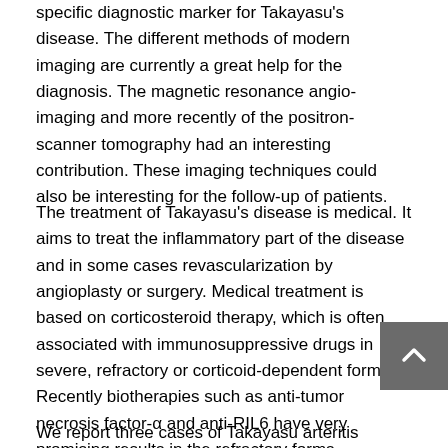specific diagnostic marker for Takayasu's disease. The different methods of modern imaging are currently a great help for the diagnosis. The magnetic resonance angio-imaging and more recently of the positron-scanner tomography had an interesting contribution. These imaging techniques could also be interesting for the follow-up of patients.
The treatment of Takayasu's disease is medical. It aims to treat the inflammatory part of the disease and in some cases revascularization by angioplasty or surgery. Medical treatment is based on corticosteroid therapy, which is often associated with immunosuppressive drugs in severe, refractory or corticoid-dependent forms. Recently biotherapies such as anti-tumor necrosis factor-α and anti-RIL6 have very promising results in the refractory forms.
We report three cases of Takayasu arteritis collected at the Internal